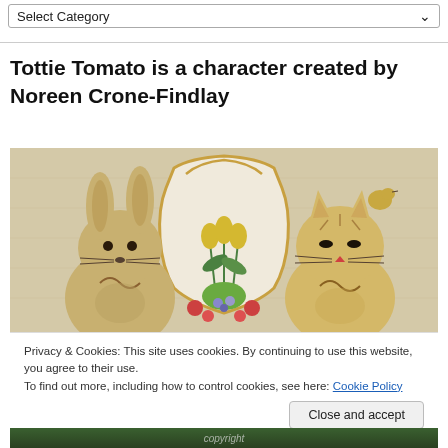Select Category
Tottie Tomato is a character created by Noreen Crone-Findlay
[Figure (photo): Photo of handcrafted figurines — a rabbit and a cat — flanking a decorative plaque with painted flowers (tulips, berries, leaves) on a textured beige background]
Privacy & Cookies: This site uses cookies. By continuing to use this website, you agree to their use.
To find out more, including how to control cookies, see here: Cookie Policy
Close and accept
[Figure (photo): Partial bottom image showing greenery and text 'copyright']